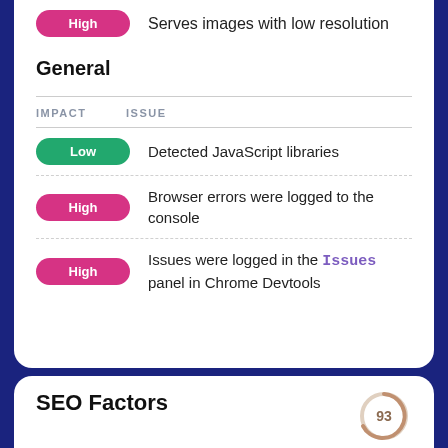High — Serves images with low resolution
General
Low — Detected JavaScript libraries
High — Browser errors were logged to the console
High — Issues were logged in the Issues panel in Chrome Devtools
SEO Factors